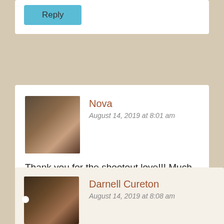[Figure (other): Reply button at top of page (partial comment card)]
[Figure (photo): Avatar photo of Nova, a woman with glasses]
Nova
August 14, 2019 at 8:01 am
Thank you for the shootout love!!! Much much appreciate it & your friendship! 🤗🤗🤗
★ Liked by 1 person
[Figure (other): Reply button below Nova comment]
[Figure (photo): Avatar photo of Darnell Cureton]
Darnell Cureton
August 14, 2019 at 8:08 am